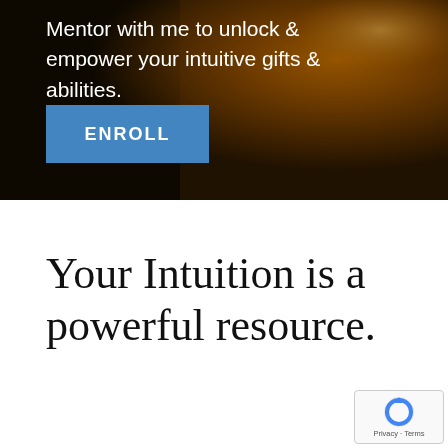[Figure (screenshot): Dark textured background with warm amber/brown gradient on the right side, representing a hero section of a webpage]
Mentor with me to unlock & empower your intuitive gifts & abilities.
ENROLL
Your Intuition is a powerful resource.
[Figure (logo): Google reCAPTCHA badge with privacy and terms links]